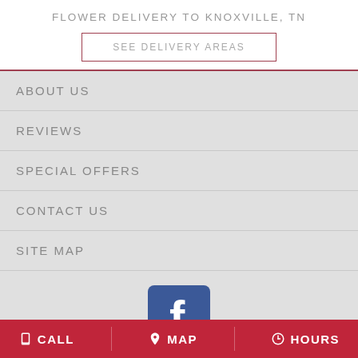FLOWER DELIVERY TO KNOXVILLE, TN
SEE DELIVERY AREAS
ABOUT US
REVIEWS
SPECIAL OFFERS
CONTACT US
SITE MAP
[Figure (logo): Facebook logo icon — white 'f' on blue rounded rectangle background]
CALL   MAP   HOURS